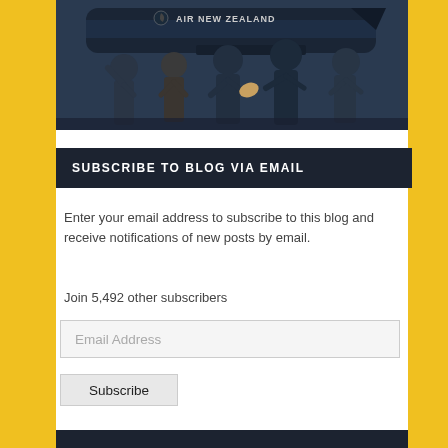[Figure (photo): Group of people including rugby players in dark uniforms and a person in a suit posing in front of an Air New Zealand airplane on the tarmac]
SUBSCRIBE TO BLOG VIA EMAIL
Enter your email address to subscribe to this blog and receive notifications of new posts by email.
Join 5,492 other subscribers
Email Address
Subscribe